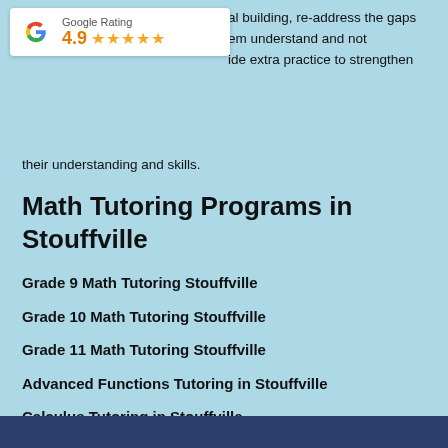[Figure (logo): Google Rating badge with Google G logo, showing 4.9 stars]
al building, re-address the gaps em understand and not ide extra practice to strengthen their understanding and skills.
Math Tutoring Programs in Stouffville
Grade 9 Math Tutoring Stouffville
Grade 10 Math Tutoring Stouffville
Grade 11 Math Tutoring Stouffville
Advanced Functions Tutoring in Stouffville
Calculus Tutoring in Stouffville